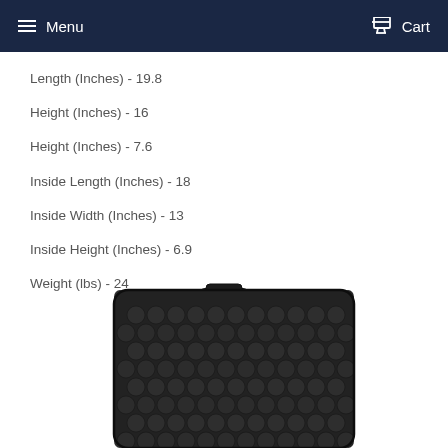Menu   Cart
Length (Inches) - 19.8
Height (Inches) - 16
Height (Inches) - 7.6
Inside Length (Inches) - 18
Inside Width (Inches) - 13
Inside Height (Inches) - 6.9
Weight (lbs) - 24
[Figure (photo): Black hard-shell protective case with egg-crate foam interior visible, photographed at an angle showing the top and side panels.]